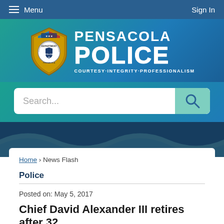Menu   Sign In
[Figure (logo): Pensacola Police Department badge logo with text: PENSACOLA POLICE, COURTESY·INTEGRITY·PROFESSIONALISM]
Search...
Home › News Flash
Police
Posted on: May 5, 2017
Chief David Alexander III retires after 32